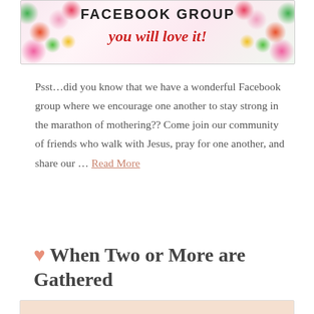[Figure (illustration): Facebook Group promotional banner with floral decoration and script text reading 'you will love it!']
Psst…did you know that we have a wonderful Facebook group where we encourage one another to stay strong in the marathon of mothering?? Come join our community of friends who walk with Jesus, pray for one another, and share our … Read More
♥ When Two or More are Gathered
[Figure (photo): Partial image of article thumbnail at bottom of page]